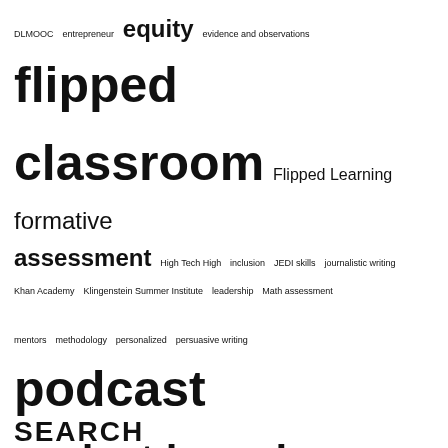[Figure (infographic): Tag cloud containing education-related terms of varying sizes indicating frequency/importance: DLMOOC, entrepreneur, equity (large), evidence and observations, flipped classroom (very large bold), Flipped Learning, formative assessment (very large bold), High Tech High, inclusion, JEDI skills, journalistic writing, Khan Academy, Klingenstein Summer Institute, leadership, Math assessment, mentors, methodology, personalized, persuasive writing, podcast (very large bold), project based learning assessment (very large bold), Quiet by Susan Cain, research, side hustle, sketchnoting, social justice, social writing discourse, sparkling prefrontal cortex, TDSB, Teacher PD, Teach Hustle Inspire, teaching geek, The Book Thief, The Dalton Plan, Wiggins and McTighe, writing instruction, Zaption]
SEARCH